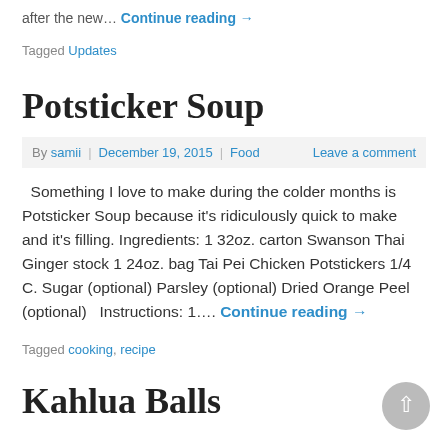after the new… Continue reading →
Tagged Updates
Potsticker Soup
By samii | December 19, 2015 | Food    Leave a comment
Something I love to make during the colder months is Potsticker Soup because it's ridiculously quick to make and it's filling. Ingredients: 1 32oz. carton Swanson Thai Ginger stock 1 24oz. bag Tai Pei Chicken Potstickers 1/4 C. Sugar (optional) Parsley (optional) Dried Orange Peel (optional)   Instructions: 1…. Continue reading →
Tagged cooking, recipe
Kahlua Balls